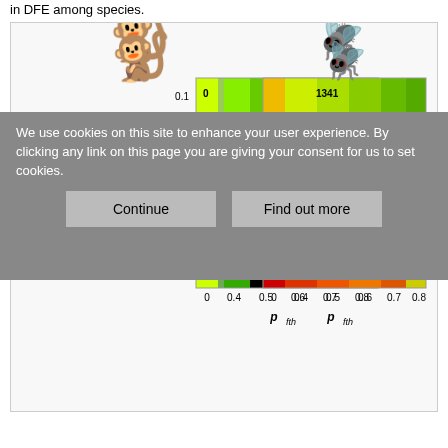in DFE among species.
[Figure (other): Two heatmap panels side by side. Left panel shows a monkey silhouette above, right panel shows a fly silhouette above. Both panels have x-axis labeled p_fth (values 0, 0.4, 0.5, 0.6, 0.7, 0.8) and y-axis labeled beta (values 0.1, 0.2, 0.3, 0.4, 0.5, 0.6). Colors range from green (low) to red (high). Left panel has annotations: 0, 192, 153, 25. Right panel has annotations: 1341, 27, 16, 0.]
We use cookies on this site to enhance your user experience. By clicking any link on this page you are giving your consent for us to set cookies.